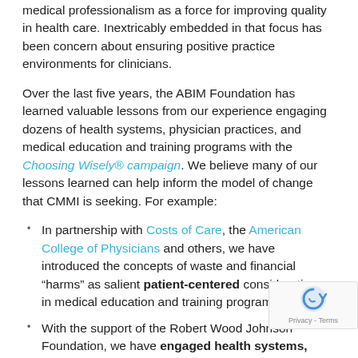medical professionalism as a force for improving quality in health care. Inextricably embedded in that focus has been concern about ensuring positive practice environments for clinicians.
Over the last five years, the ABIM Foundation has learned valuable lessons from our experience engaging dozens of health systems, physician practices, and medical education and training programs with the Choosing Wisely® campaign. We believe many of our lessons learned can help inform the model of change that CMMI is seeking. For example:
In partnership with Costs of Care, the American College of Physicians and others, we have introduced the concepts of waste and financial “harms” as salient patient-centered considerations in medical education and training programs.
With the support of the Robert Wood Johnson Foundation, we have engaged health systems, medical societies, statewide quality improvement collaboratives and others to stimulate internalization of the Choosing campaign and implementation of its recommendati… with outstanding results on targeted and locally sel… problems of overuse.